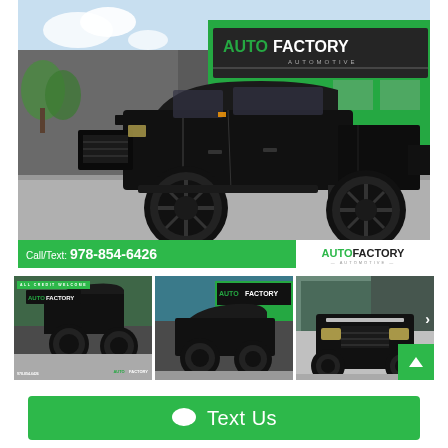[Figure (photo): Main photo of a black lifted Ford F-Series truck parked in front of Auto Factory Automotive dealership building with green facade. Green banner at bottom shows phone number and logo.]
[Figure (photo): Thumbnail 1: Black lifted truck with ALL CREDIT WELCOME badge and Auto Factory phone number overlay]
[Figure (photo): Thumbnail 2: Black lifted truck side view in front of Auto Factory dealership]
[Figure (photo): Thumbnail 3: Front view of black truck at Auto Factory dealership]
Call/Text: 978-854-6426
Text Us